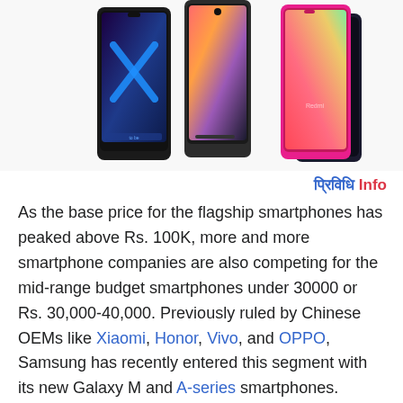[Figure (photo): Three smartphones displayed side by side: a black Huawei Honor phone with X design on screen, a Samsung Galaxy A50 in dark color, and a Xiaomi Redmi Note 7 in pink/red color]
प्रिविधि Info
As the base price for the flagship smartphones has peaked above Rs. 100K, more and more smartphone companies are also competing for the mid-range budget smartphones under 30000 or Rs. 30,000-40,000. Previously ruled by Chinese OEMs like Xiaomi, Honor, Vivo, and OPPO, Samsung has recently entered this segment with its new Galaxy M and A-series smartphones. However, it's always difficult to choose from the similar-looking smartphones, both in design and specs wise. And here's why we have gathered all the top smartphones